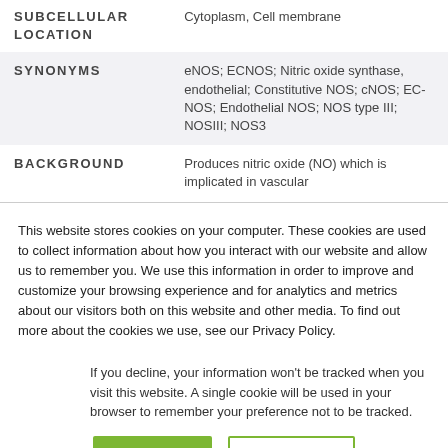| Field | Value |
| --- | --- |
| SUBCELLULAR LOCATION | Cytoplasm, Cell membrane |
| SYNONYMS | eNOS; ECNOS; Nitric oxide synthase, endothelial; Constitutive NOS; cNOS; EC-NOS; Endothelial NOS; NOS type III; NOSIII; NOS3 |
| BACKGROUND | Produces nitric oxide (NO) which is implicated in vascular |
This website stores cookies on your computer. These cookies are used to collect information about how you interact with our website and allow us to remember you. We use this information in order to improve and customize your browsing experience and for analytics and metrics about our visitors both on this website and other media. To find out more about the cookies we use, see our Privacy Policy.
If you decline, your information won't be tracked when you visit this website. A single cookie will be used in your browser to remember your preference not to be tracked.